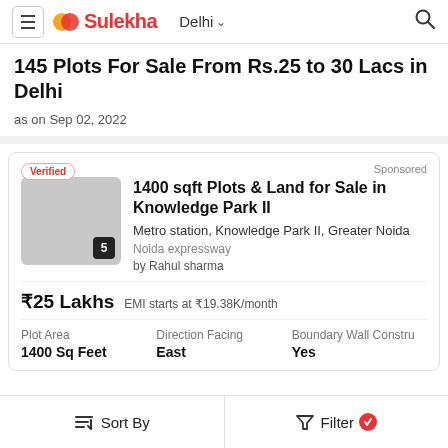Sulekha — Delhi
145 Plots For Sale From Rs.25 to 30 Lacs in Delhi
as on Sep 02, 2022
Sponsored
1400 sqft Plots & Land for Sale in Knowledge Park II
Metro station, Knowledge Park II, Greater Noida
Noida expressway
by Rahul sharma
₹25 Lakhs  EMI starts at ₹19.38K/month
Plot Area: 1400 Sq Feet  Direction Facing: East  Boundary Wall Constru: Yes